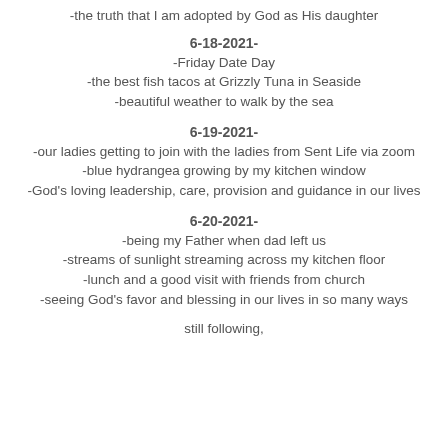-the truth that I am adopted by God as His daughter
6-18-2021-
-Friday Date Day
-the best fish tacos at Grizzly Tuna in Seaside
-beautiful weather to walk by the sea
6-19-2021-
-our ladies getting to join with the ladies from Sent Life via zoom
-blue hydrangea growing by my kitchen window
-God's loving leadership, care, provision and guidance in our lives
6-20-2021-
-being my Father when dad left us
-streams of sunlight streaming across my kitchen floor
-lunch and a good visit with friends from church
-seeing God's favor and blessing in our lives in so many ways
still following,